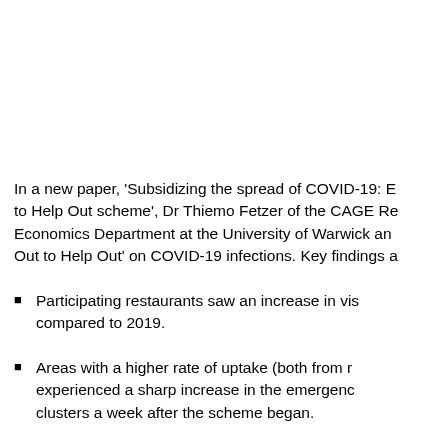In a new paper, 'Subsidizing the spread of COVID-19: E to Help Out scheme', Dr Thiemo Fetzer of the CAGE Re Economics Department at the University of Warwick an Out to Help Out' on COVID-19 infections. Key findings a
Participating restaurants saw an increase in vis compared to 2019.
Areas with a higher rate of uptake (both from r experienced a sharp increase in the emergenc clusters a week after the scheme began.
Between 8 and 17% of the newly detected COV